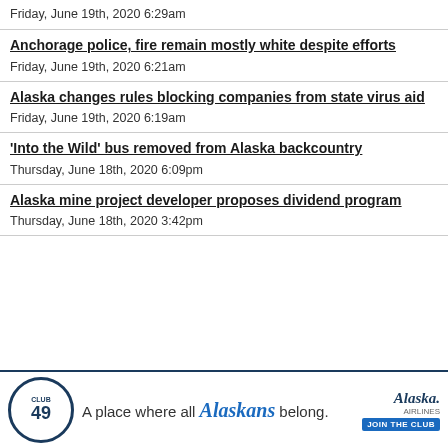Friday, June 19th, 2020 6:29am
Anchorage police, fire remain mostly white despite efforts
Friday, June 19th, 2020 6:21am
Alaska changes rules blocking companies from state virus aid
Friday, June 19th, 2020 6:19am
'Into the Wild' bus removed from Alaska backcountry
Thursday, June 18th, 2020 6:09pm
Alaska mine project developer proposes dividend program
Thursday, June 18th, 2020 3:42pm
[Figure (illustration): Alaska Airlines Club 49 advertisement banner: 'A place where all Alaskans belong.' with Club 49 circular logo and Alaska Airlines logo with JOIN THE CLUB button]